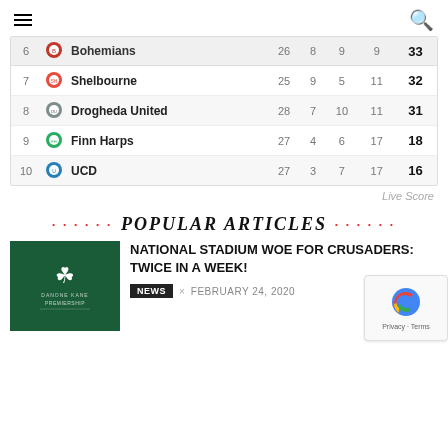Navigation menu and search icon
| # |  | Team | P | W | D | L | Pts |
| --- | --- | --- | --- | --- | --- | --- | --- |
| 6 |  | Bohemians | 26 | 8 | 9 | 9 | 33 |
| 7 |  | Shelbourne | 25 | 9 | 5 | 11 | 32 |
| 8 |  | Drogheda United | 28 | 7 | 10 | 11 | 31 |
| 9 |  | Finn Harps | 27 | 4 | 6 | 17 | 18 |
| 10 |  | UCD | 27 | 3 | 7 | 17 | 16 |
Live Score
POPULAR ARTICLES
[Figure (photo): Green background image with shamrock/clover logo and text - Danone Kane Premiership]
NATIONAL STADIUM WOE FOR CRUSADERS: TWICE IN A WEEK!
NEWS x FEBRUARY 24, 2020